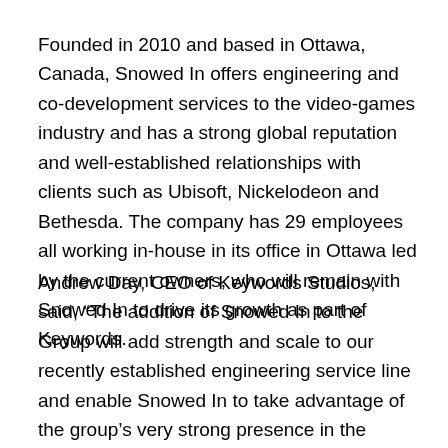Founded in 2010 and based in Ottawa, Canada, Snowed In offers engineering and co-development services to the video-games industry and has a strong global reputation and well-established relationships with clients such as Ubisoft, Nickelodeon and Bethesda. The company has 29 employees all working in-house in its office in Ottawa led by the current owners, who will remain with Snowed In to drive its growth as part of Keywords.
Andrew Day, CEO of Keywords Studios, said, “The addition of Snowed In to the Group will add strength and scale to our recently established engineering service line and enable Snowed In to take advantage of the group’s very strong presence in the region to support its growth. Having grown the engineering service line from nothing in May 2017, we now employ over 300 software engineers in